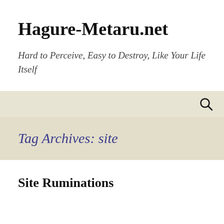Hagure-Metaru.net
Hard to Perceive, Easy to Destroy, Like Your Life Itself
Tag Archives: site
Site Ruminations